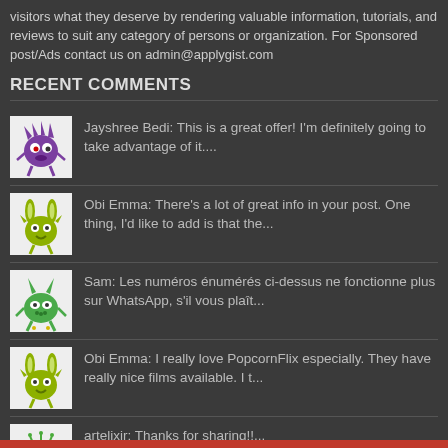visitors what they deserve by rendering valuable information, tutorials, and reviews to suit any category of persons or organization. For Sponsored post/Ads contact us on admin@applygist.com
RECENT COMMENTS
Jayshree Bedi: This is a great offer! I'm definitely going to take advantage of it....
Obi Emma: There's a lot of great info in your post. One thing, I'd like to add is that the...
Sam: Les numéros énumérés ci-dessus ne fonctionne plus sur WhatsApp, s'il vous plaît...
Obi Emma: I really love PopcornFlix especially. They have really nice films available. I t...
artelixir: Thanks for sharing!!...